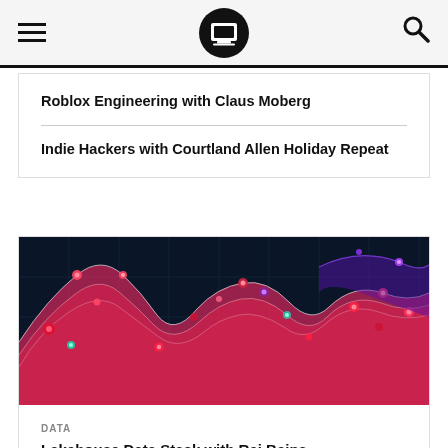Navigation bar with hamburger menu, laptop logo, and search icon
Roblox Engineering with Claus Moberg
Indie Hackers with Courtland Allen Holiday Repeat
[Figure (illustration): Data visualization showing 3D wave/terrain chart with red and pink flowing surfaces, glowing dots and lines on a dark blue background]
DATA
Lakehouse Data Stack with Raj Bains